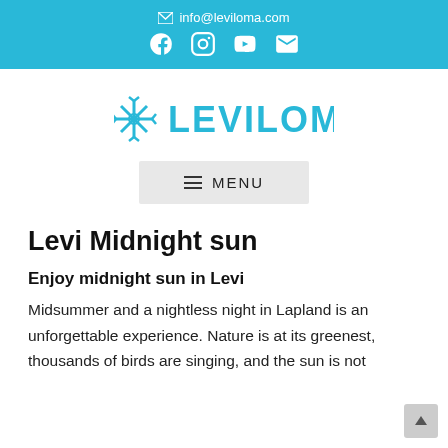info@leviloma.com
[Figure (logo): Leviloma logo with snowflake icon and text LEVILOMA in blue]
≡ MENU
Levi Midnight sun
Enjoy midnight sun in Levi
Midsummer and a nightless night in Lapland is an unforgettable experience. Nature is at its greenest, thousands of birds are singing, and the sun is not